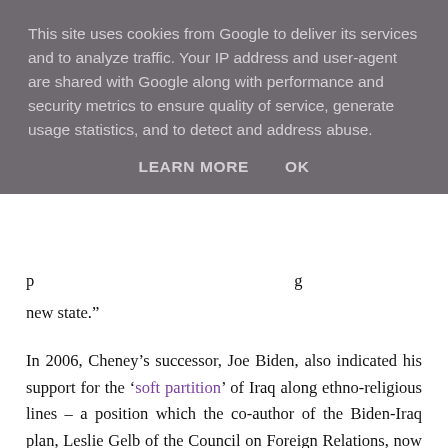This site uses cookies from Google to deliver its services and to analyze traffic. Your IP address and user-agent are shared with Google along with performance and security metrics to ensure quality of service, generate usage statistics, and to detect and address abuse.
LEARN MORE   OK
p... new state.”
In 2006, Cheney’s successor, Joe Biden, also indicated his support for the ‘soft partition’ of Iraq along ethno-religious lines – a position which the co-author of the Biden-Iraq plan, Leslie Gelb of the Council on Foreign Relations, now argues is “the only solution” to the current crisis.
Also in 2006, the Armed Forces Journal published a